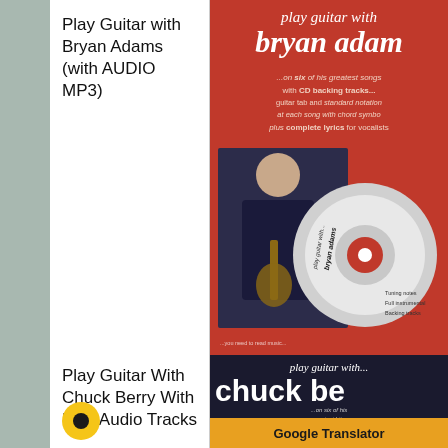[Figure (photo): Left grey sidebar strip]
Play Guitar with Bryan Adams (with AUDIO MP3)
[Figure (photo): Book cover: Play Guitar with Bryan Adams – red cover with CD image and photo of Bryan Adams playing guitar]
Play Guitar With Chuck Berry With Mp3 Audio Tracks
[Figure (photo): Book cover: Play Guitar with Chuck Berry – dark cover with text about CD backing tracks and guitar tab]
Google Translator